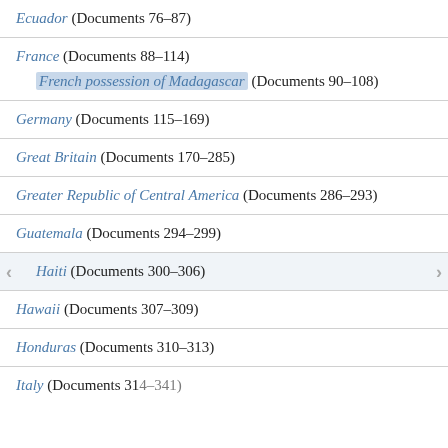Ecuador (Documents 76-87)
France (Documents 88-114)
    French possession of Madagascar (Documents 90-108)
Germany (Documents 115-169)
Great Britain (Documents 170-285)
Greater Republic of Central America (Documents 286-293)
Guatemala (Documents 294-299)
Haiti (Documents 300-306)
Hawaii (Documents 307-309)
Honduras (Documents 310-313)
Italy (Documents 314-341)